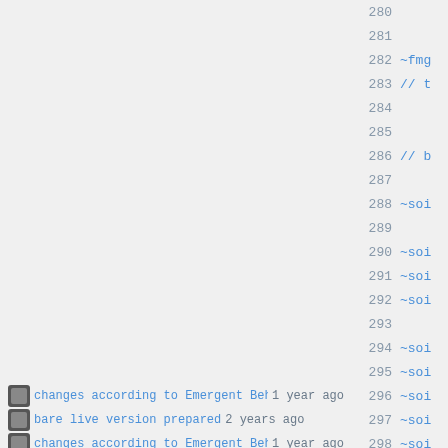Code viewer with git blame annotations, lines 280–301
280 (empty)
281 (empty)
282 ~fmg
283 // t
284 (empty)
285 (empty)
286 // b
287 (empty)
288 ~soi
289 (empty)
290 ~soi
291 ~soi
292 ~soi
293 (empty)
294 ~soi
295 ~soi
296 changes according to Emergent Beh... 1 year ago ~soi
297 bare live version prepared 2 years ago ~soi
298 changes according to Emergent Beh... 1 year ago ~soi
299 bare live version prepared 2 years ago ~soi
300 (empty)
301 //